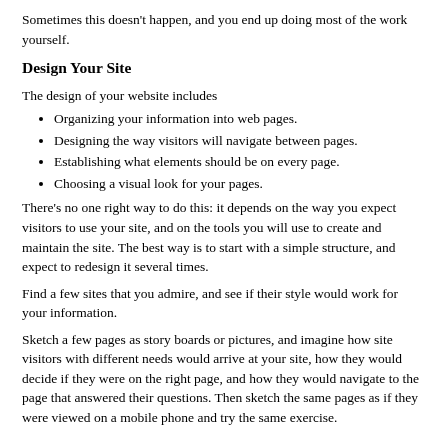Sometimes this doesn't happen, and you end up doing most of the work yourself.
Design Your Site
The design of your website includes
Organizing your information into web pages.
Designing the way visitors will navigate between pages.
Establishing what elements should be on every page.
Choosing a visual look for your pages.
There's no one right way to do this: it depends on the way you expect visitors to use your site, and on the tools you will use to create and maintain the site. The best way is to start with a simple structure, and expect to redesign it several times.
Find a few sites that you admire, and see if their style would work for your information.
Sketch a few pages as story boards or pictures, and imagine how site visitors with different needs would arrive at your site, how they would decide if they were on the right page, and how they would navigate to the page that answered their questions. Then sketch the same pages as if they were viewed on a mobile phone and try the same exercise.